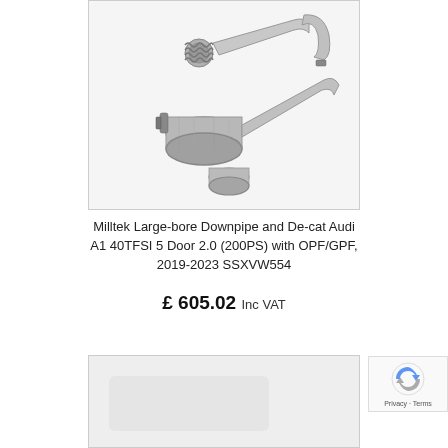[Figure (photo): Milltek Large-bore Downpipe and De-cat exhaust components — stainless steel pipes, flexible section, and a cylindrical cat-delete section on a white background]
Milltek Large-bore Downpipe and De-cat Audi A1 40TFSI 5 Door 2.0 (200PS) with OPF/GPF, 2019-2023 SSXVW554
£ 605.02 Inc VAT
[Figure (photo): Partially visible product image at the bottom of the page]